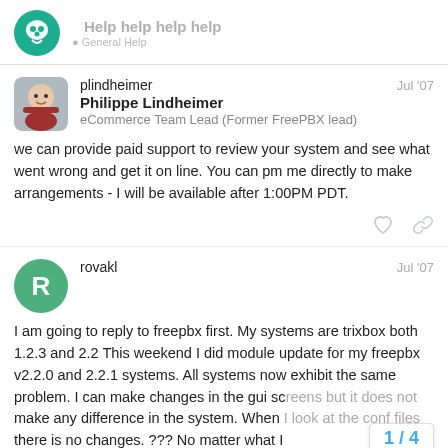Help help help help
plindheimer
Philippe Lindheimer
eCommerce Team Lead (Former FreePBX lead)
Jul '07
we can provide paid support to review your system and see what went wrong and get it on line. You can pm me directly to make arrangements - I will be available after 1:00PM PDT.
rovakl
Jul '07
I am going to reply to freepbx first. My systems are trixbox both 1.2.3 and 2.2 This weekend I did module update for my freepbx v2.2.0 and 2.2.1 systems. All systems now exhibit the same problem. I can make changes in the gui screens but it does not make any difference in the system. When I look at the conf files there is no changes. ??? No matter what I
1 / 4